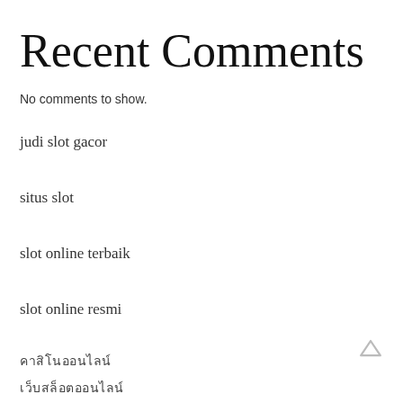Recent Comments
No comments to show.
judi slot gacor
situs slot
slot online terbaik
slot online resmi
คาสิโนออนไลน์
เว็บสล็อตออนไลน์